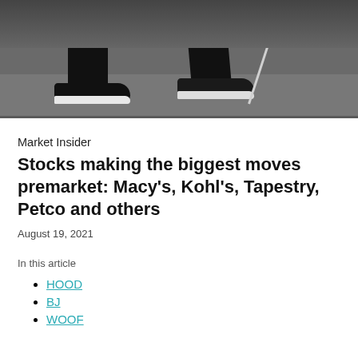[Figure (photo): Street-level photo showing the legs and sneakers of a person walking on pavement, holding a cane or stick]
Market Insider
Stocks making the biggest moves premarket: Macy’s, Kohl’s, Tapestry, Petco and others
August 19, 2021
In this article
HOOD
BJ
WOOF